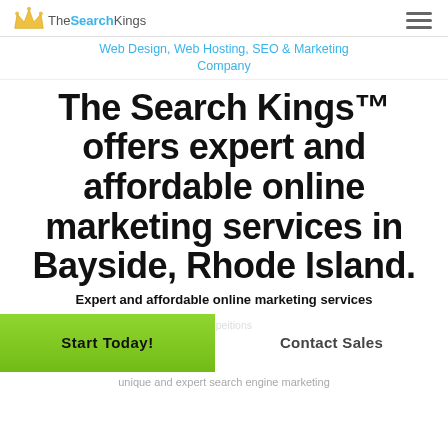[Figure (logo): The Search Kings logo with crown icon and blue 'Search' text]
Web Design, Web Hosting, SEO & Marketing Company
The Search Kings™ offers expert and affordable online marketing services in Bayside, Rhode Island.
Expert and affordable online marketing services
Start Today!
Contact Sales